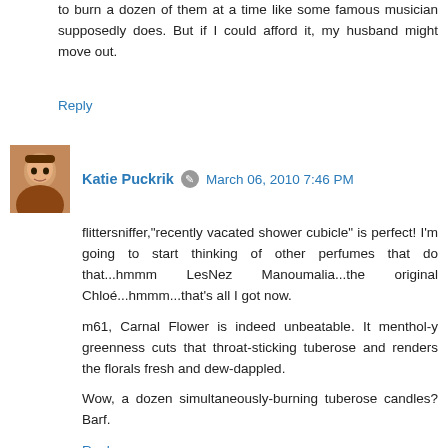to burn a dozen of them at a time like some famous musician supposedly does. But if I could afford it, my husband might move out.
Reply
Katie Puckrik  March 06, 2010 7:46 PM
flittersniffer,"recently vacated shower cubicle" is perfect! I'm going to start thinking of other perfumes that do that...hmmm LesNez Manoumalia...the original Chloé...hmmm...that's all I got now.
m61, Carnal Flower is indeed unbeatable. It menthol-y greenness cuts that throat-sticking tuberose and renders the florals fresh and dew-dappled.
Wow, a dozen simultaneously-burning tuberose candles? Barf.
Reply